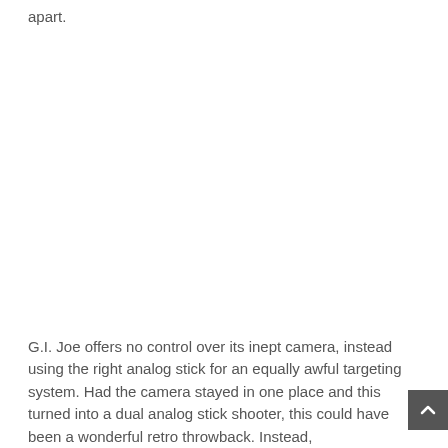apart.
G.I. Joe offers no control over its inept camera, instead using the right analog stick for an equally awful targeting system. Had the camera stayed in one place and this turned into a dual analog stick shooter, this could have been a wonderful retro throwback. Instead,